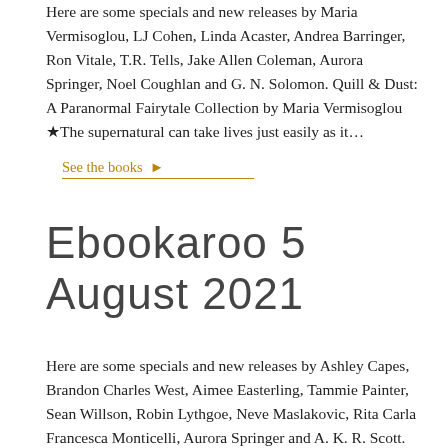Here are some specials and new releases by Maria Vermisoglou, LJ Cohen, Linda Acaster, Andrea Barringer, Ron Vitale, T.R. Tells, Jake Allen Coleman, Aurora Springer, Noel Coughlan and G. N. Solomon. Quill & Dust: A Paranormal Fairytale Collection by Maria Vermisoglou ★The supernatural can take lives just easily as it…
See the books ▶
Ebookaroo 5 August 2021
Here are some specials and new releases by Ashley Capes, Brandon Charles West, Aimee Easterling, Tammie Painter, Sean Willson, Robin Lythgoe, Neve Maslakovic, Rita Carla Francesca Monticelli, Aurora Springer and A. K. R. Scott. The Book of Never (1-5) by Ashley Capes Adventure? Check